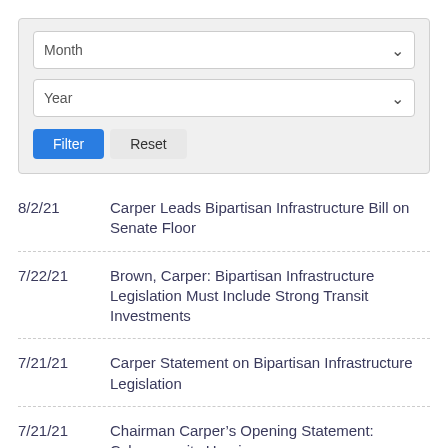Month (dropdown)
Year (dropdown)
Filter | Reset
8/2/21 — Carper Leads Bipartisan Infrastructure Bill on Senate Floor
7/22/21 — Brown, Carper: Bipartisan Infrastructure Legislation Must Include Strong Transit Investments
7/21/21 — Carper Statement on Bipartisan Infrastructure Legislation
7/21/21 — Chairman Carper's Opening Statement: Cybersecurity Hearing